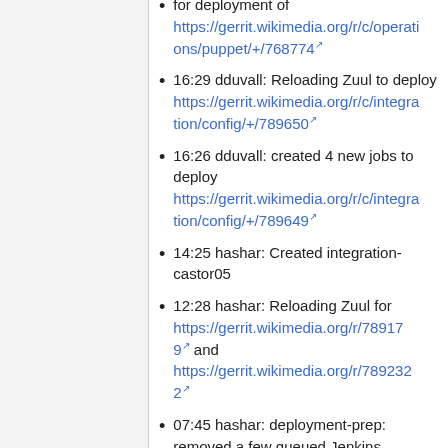for deployment of https://gerrit.wikimedia.org/r/c/operations/puppet/+/768774
16:29 dduvall: Reloading Zuul to deploy https://gerrit.wikimedia.org/r/c/integration/config/+/789650
16:26 dduvall: created 4 new jobs to deploy https://gerrit.wikimedia.org/r/c/integration/config/+/789649
14:25 hashar: Created integration-castor05
12:28 hashar: Reloading Zuul for https://gerrit.wikimedia.org/r/789179 and https://gerrit.wikimedia.org/r/789232
07:45 hashar: deployment-prep: removed a few queued Jenkins